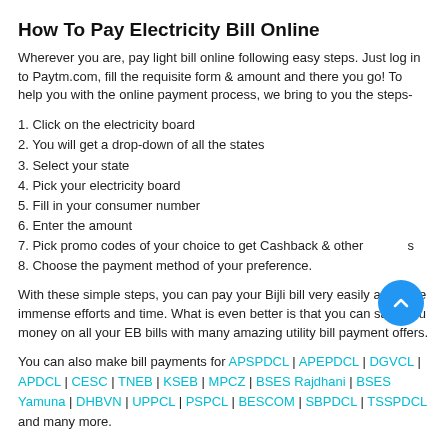How To Pay Electricity Bill Online
Wherever you are, pay light bill online following easy steps. Just log in to Paytm.com, fill the requisite form & amount and there you go! To help you with the online payment process, we bring to you the steps-
1. Click on the electricity board
2. You will get a drop-down of all the states
3. Select your state
4. Pick your electricity board
5. Fill in your consumer number
6. Enter the amount
7. Pick promo codes of your choice to get Cashback & others
8. Choose the payment method of your preference.
With these simple steps, you can pay your Bijli bill very easily and save immense efforts and time. What is even better is that you can save you money on all your EB bills with many amazing utility bill payment offers.
You can also make bill payments for APSPDCL | APEPDCL | DGVCL | APDCL | CESC | TNEB | KSEB | MPCZ | BSES Rajdhani | BSES Yamuna | DHBVN | UPPCL | PSPCL | BESCOM | SBPDCL | TSSPDCL and many more.